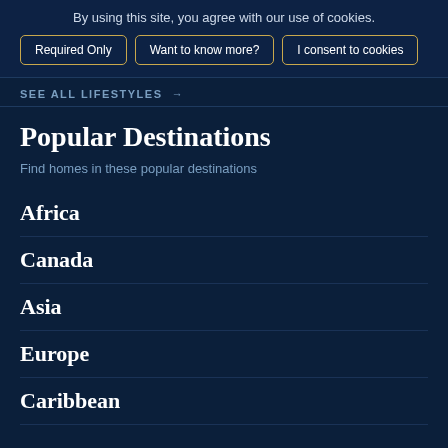By using this site, you agree with our use of cookies.
Required Only | Want to know more? | I consent to cookies
SEE ALL LIFESTYLES →
Popular Destinations
Find homes in these popular destinations
Africa
Canada
Asia
Europe
Caribbean